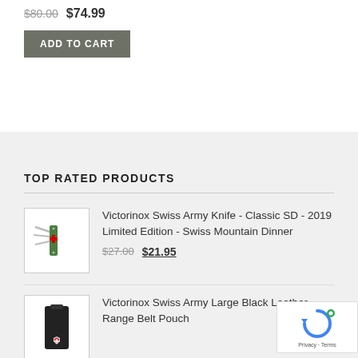$80.00 $74.99
ADD TO CART
TOP RATED PRODUCTS
Victorinox Swiss Army Knife - Classic SD - 2019 Limited Edition - Swiss Mountain Dinner
$27.00 $21.95
[Figure (photo): Victorinox Swiss Army Knife - Classic SD - 2019 Limited Edition product thumbnail]
Victorinox Swiss Army Large Black Leather Range Belt Pouch
[Figure (photo): Victorinox Swiss Army Large Black Leather Range Belt Pouch product thumbnail]
[Figure (logo): Google reCAPTCHA badge with Privacy and Terms links]